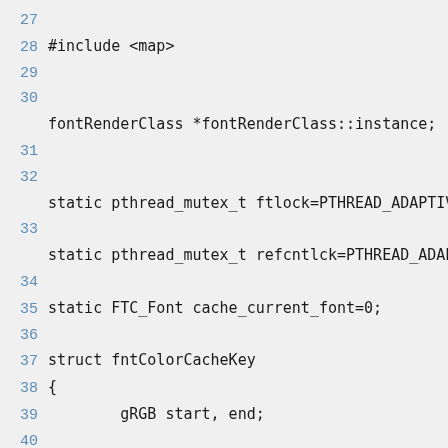27
28 #include <map>
29
30
fontRenderClass *fontRenderClass::instance;
31
32
static pthread_mutex_t ftlock=PTHREAD_ADAPTIVE
33
static pthread_mutex_t refcntlck=PTHREAD_ADAPT
34
35 static FTC_Font cache_current_font=0;
36
37 struct fntColorCacheKey
38 {
39         gRGB start, end;
40
    fntColorCacheKey(const gRGB &start, co
41
        : start(start), end(end)